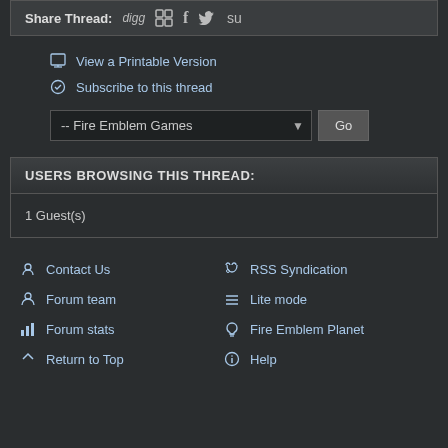Share Thread: digg [icons] f t su
View a Printable Version
Subscribe to this thread
-- Fire Emblem Games [dropdown] Go
USERS BROWSING THIS THREAD:
1 Guest(s)
Contact Us
RSS Syndication
Forum team
Lite mode
Forum stats
Fire Emblem Planet
Return to Top
Help